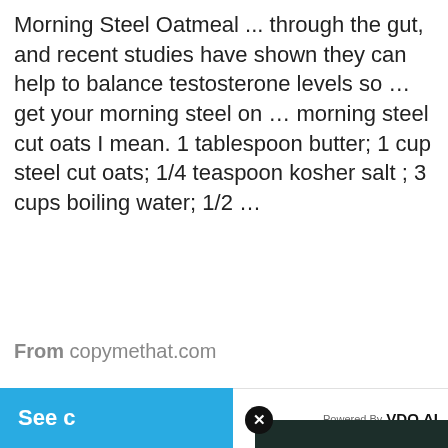Morning Steel Oatmeal ... through the gut, and recent studies have shown they can help to balance testosterone levels so … get your morning steel on … morning steel cut oats I mean. 1 tablespoon butter; 1 cup steel cut oats; 1/4 teaspoon kosher salt ; 3 cups boiling water; 1/2 ...
From copymethat.com
[Figure (screenshot): Blue 'See c...' button partially visible on left, and VDO.AI powered media player popup overlay on right showing 'No compatible source was found for this media.' with HEA X branding on a dark topo-map background with red/orange heat areas. Close button (X) in top-left circle.]
ALTON OATME...
Instructions ingredie... cook for bowls. T you go to finished